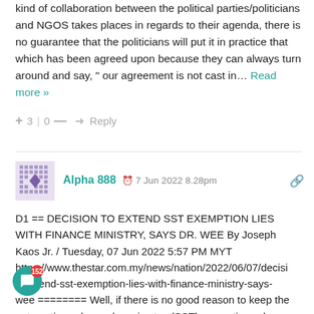kind of collaboration between the political parties/politicians and NGOS takes places in regards to their agenda, there is no guarantee that the politicians will put it in practice that which has been agreed upon because they can always turn around and say, " our agreement is not cast in… Read more »
+ 3 | 0 — → Reply
Alpha 888 ⊙ 7 Jun 2022 8.28pm
D1 == DECISION TO EXTEND SST EXEMPTION LIES WITH FINANCE MINISTRY, SAYS DR. WEE By Joseph Kaos Jr. / Tuesday, 07 Jun 2022 5:57 PM MYT https://www.thestar.com.my/news/nation/2022/06/07/decisi o-extend-sst-exemption-lies-with-finance-ministry-says- wee ======== Well, if there is no good reason to keep the automotive sales and service tax (SST) exemption scheme